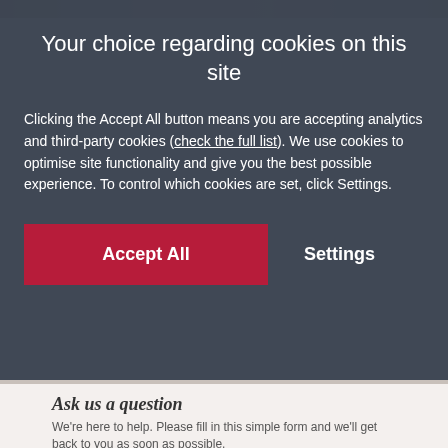[Figure (screenshot): Top strip showing partial image (cropped photo background)]
Your choice regarding cookies on this site
Clicking the Accept All button means you are accepting analytics and third-party cookies (check the full list). We use cookies to optimise site functionality and give you the best possible experience. To control which cookies are set, click Settings.
Accept All   Settings
Ask us a question
We're here to help. Please fill in this simple form and we'll get back to you as soon as possible.